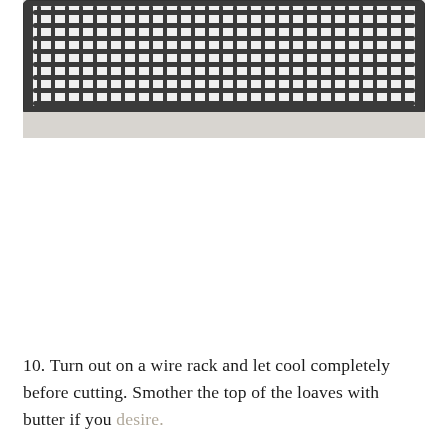[Figure (photo): Close-up photo of a dark metal wire cooling rack, showing parallel metal bars in a grid pattern on a white surface. Only the top portion of the rack is visible.]
10. Turn out on a wire rack and let cool completely before cutting. Smother the top of the loaves with butter if you desire.